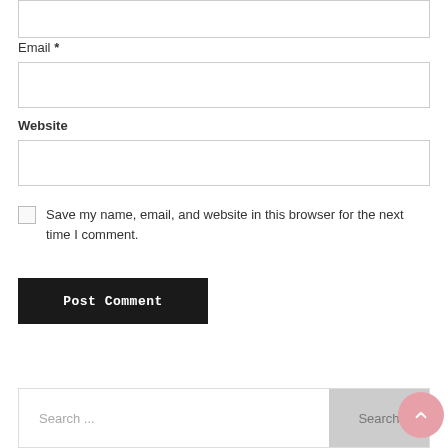Email *
Website
Save my name, email, and website in this browser for the next time I comment.
Post Comment
Search ...
Search